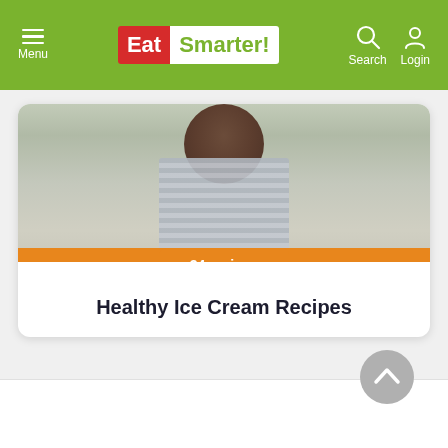EatSmarter! — Menu | Search | Login
[Figure (screenshot): EatSmarter website screenshot showing a card with ice cream image, '34 recipes' badge, and 'Healthy Ice Cream Recipes' title]
34 recipes
Healthy Ice Cream Recipes